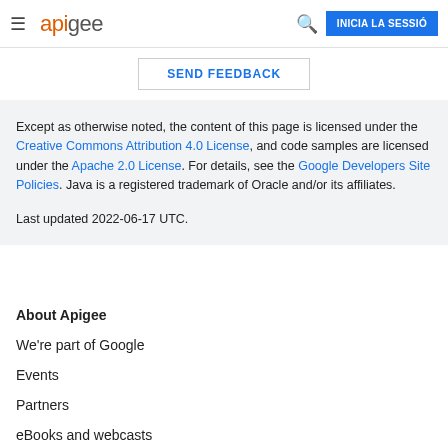apigee | INICIA LA SESSIÓ
SEND FEEDBACK
Except as otherwise noted, the content of this page is licensed under the Creative Commons Attribution 4.0 License, and code samples are licensed under the Apache 2.0 License. For details, see the Google Developers Site Policies. Java is a registered trademark of Oracle and/or its affiliates.

Last updated 2022-06-17 UTC.
About Apigee
We're part of Google
Events
Partners
eBooks and webcasts